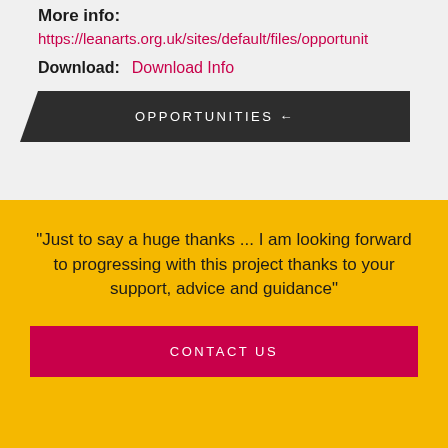More info:
https://leanarts.org.uk/sites/default/files/opportunit
Download: Download Info
OPPORTUNITIES ←
"Just to say a huge thanks ... I am looking forward to progressing with this project thanks to your support, advice and guidance"
CONTACT US